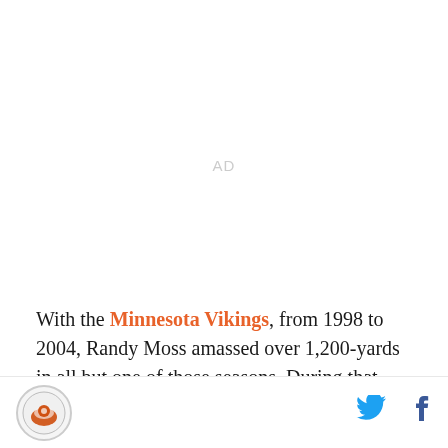[Figure (other): Advertisement placeholder with 'AD' label in light gray]
With the Minnesota Vikings, from 1998 to 2004, Randy Moss amassed over 1,200-yards in all but one of those seasons. During that same time, Moss rang up double digit touchdowns in all but one of those
Logo icon | Twitter icon | Facebook icon